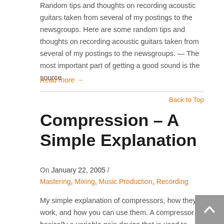Random tips and thoughts on recording acoustic guitars taken from several of my postings to the newsgroups. Here are some random tips and thoughts on recording acoustic guitars taken from several of my postings to the newsgroups. — The most important part of getting a good sound is the source
Read more →
Back to Top
Compression – A Simple Explanation
On January 22, 2005 /
Mastering, Mixing, Music Production, Recording
My simple explanation of compressors, how they work, and how you can use them. A compressor is basically a variable gain device that is used to either boost or attenuate the volume of a mix or instrument.